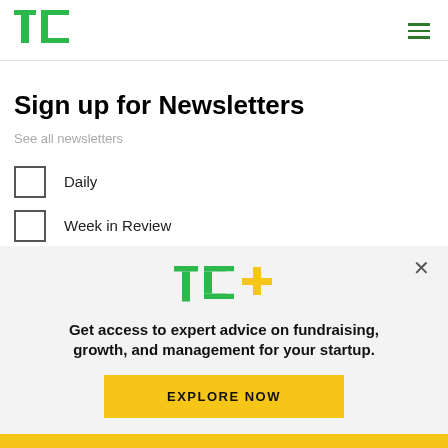[Figure (logo): TechCrunch TC logo in green]
[Figure (other): Hamburger menu icon (three horizontal green lines)]
Sign up for Newsletters
See all newsletters
Daily
Week in Review
[Figure (logo): TC+ logo: TechCrunch TC in green with yellow plus sign]
Get access to expert advice on fundraising, growth, and management for your startup.
EXPLORE NOW